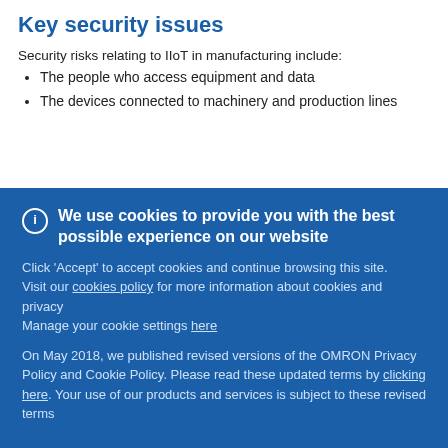Key security issues
Security risks relating to IIoT in manufacturing include:
The people who access equipment and data
The devices connected to machinery and production lines
We use cookies to provide you with the best possible experience on our website
Click 'Accept' to accept cookies and continue browsing this site. Visit our cookies policy for more information about cookies and privacy
Manage your cookie settings here
On May 2018, we published revised versions of the OMRON Privacy Policy and Cookie Policy. Please read these updated terms by clicking here. Your use of our products and services is subject to these revised terms
Accept